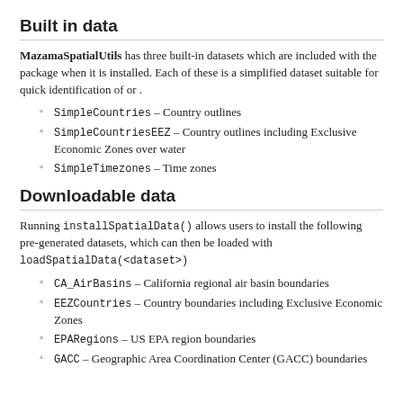Built in data
MazamaSpatialUtils has three built-in datasets which are included with the package when it is installed. Each of these is a simplified dataset suitable for quick identification of or .
SimpleCountries – Country outlines
SimpleCountriesEEZ – Country outlines including Exclusive Economic Zones over water
SimpleTimezones – Time zones
Downloadable data
Running installSpatialData() allows users to install the following pre-generated datasets, which can then be loaded with loadSpatialData(<dataset>)
CA_AirBasins – California regional air basin boundaries
EEZCountries – Country boundaries including Exclusive Economic Zones
EPARegions – US EPA region boundaries
GACC – Geographic Area Coordination Center (GACC) boundaries